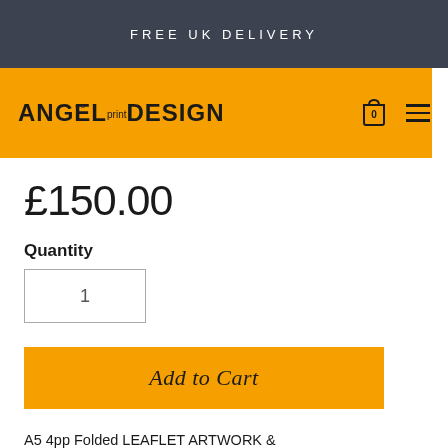FREE UK DELIVERY
[Figure (logo): Angel Print & Design logo on orange navigation bar with shopping cart icon and hamburger menu]
£150.00
Quantity
1
Add to Cart
A5 4pp Folded LEAFLET ARTWORK & DESIGN Both sides £150. When using our personal service please email your brief to us or call us on 01580 752943. Your brief will be given to a